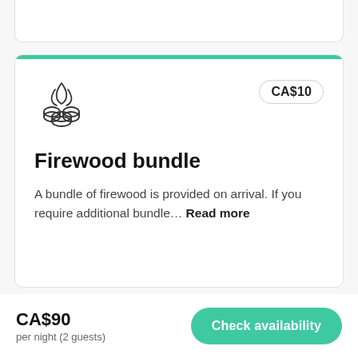[Figure (illustration): Campfire / firewood bundle icon in outline style]
CA$10
Firewood bundle
A bundle of firewood is provided on arrival. If you require additional bundle… Read more
CA$90
per night (2 guests)
Check availability